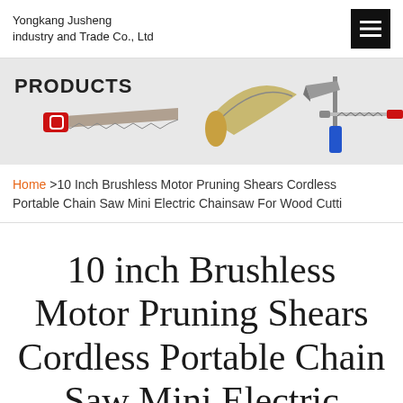Yongkang Jusheng industry and Trade Co., Ltd
[Figure (illustration): Products banner showing various saws and cutting tools on a light grey background with the label PRODUCTS]
Home >10 Inch Brushless Motor Pruning Shears Cordless Portable Chain Saw Mini Electric Chainsaw For Wood Cutti
10 inch Brushless Motor Pruning Shears Cordless Portable Chain Saw Mini Electric Chainsaw for Wood Cutti